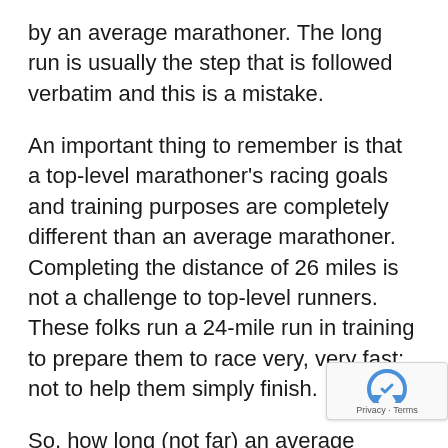by an average marathoner. The long run is usually the step that is followed verbatim and this is a mistake.
An important thing to remember is that a top-level marathoner's racing goals and training purposes are completely different than an average marathoner. Completing the distance of 26 miles is not a challenge to top-level runners. These folks run a 24-mile run in training to prepare them to race very, very fast; not to help them simply finish.
So, how long (not far) an average marathoner should run in their long run definitely shou not be something that is gleaned from an ...